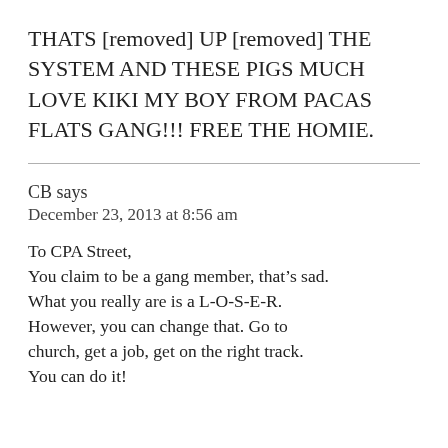THATS [removed] UP [removed] THE SYSTEM AND THESE PIGS MUCH LOVE KIKI MY BOY FROM PACAS FLATS GANG!!! FREE THE HOMIE.
CB says
December 23, 2013 at 8:56 am
To CPA Street,
You claim to be a gang member, that’s sad. What you really are is a L-O-S-E-R. However, you can change that. Go to church, get a job, get on the right track. You can do it!